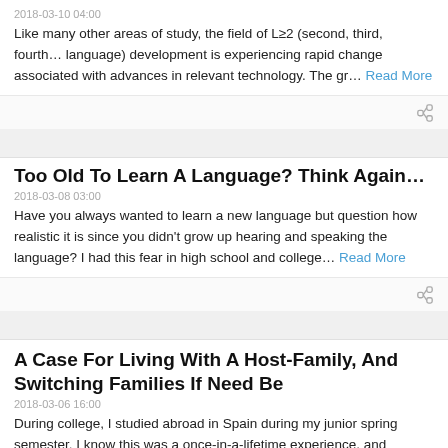2018-03-10 04:00
Like many other areas of study, the field of L≥2 (second, third, fourth… language) development is experiencing rapid change associated with advances in relevant technology. The gr… Read More
Too Old To Learn A Language? Think Again…
2018-03-08 03:00
Have you always wanted to learn a new language but question how realistic it is since you didn't grow up hearing and speaking the language? I had this fear in high school and college… Read More
A Case For Living With A Host-Family, And Switching Families If Need Be
2018-03-06 16:00
During college, I studied abroad in Spain during my junior spring semester. I know this was a once-in-a-lifetime experience, and therefore